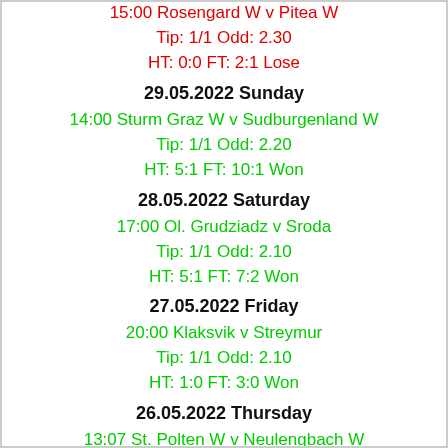15:00 Rosengard W v Pitea W
Tip: 1/1 Odd: 2.30
HT: 0:0 FT: 2:1 Lose
29.05.2022 Sunday
14:00 Sturm Graz W v Sudburgenland W
Tip: 1/1 Odd: 2.20
HT: 5:1 FT: 10:1 Won
28.05.2022 Saturday
17:00 Ol. Grudziadz v Sroda
Tip: 1/1 Odd: 2.10
HT: 5:1 FT: 7:2 Won
27.05.2022 Friday
20:00 Klaksvik v Streymur
Tip: 1/1 Odd: 2.10
HT: 1:0 FT: 3:0 Won
26.05.2022 Thursday
13:07 St. Polten W v Neulengbach W